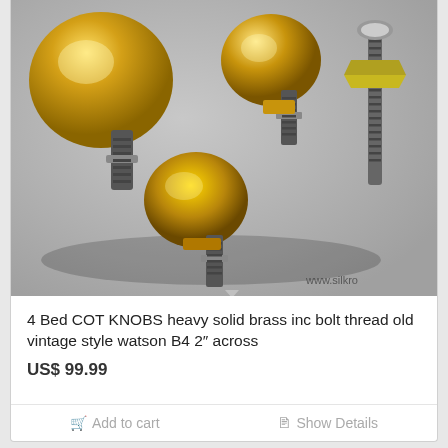[Figure (photo): Photograph of four golden/brass bed cot knobs with black threaded bolts and nuts, arranged on a grey surface. Watermark text 'www.silkro' visible in bottom right corner.]
4 Bed COT KNOBS heavy solid brass inc bolt thread old vintage style watson B4 2″ across
US$ 99.99
Add to cart
Show Details
[Figure (photo): Partial photograph showing what appears to be a light-colored fabric or cream background with a rounded wooden or brass object partially visible at the bottom.]